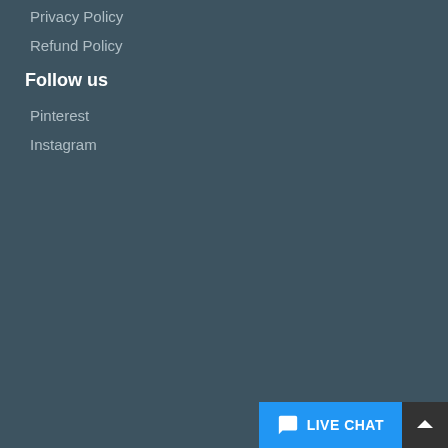Privacy Policy
Refund Policy
Follow us
Pinterest
Instagram
LIVE CHAT